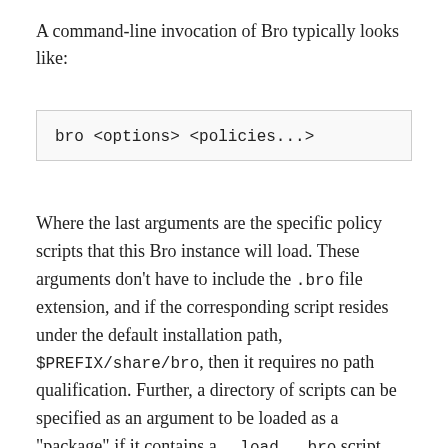A command-line invocation of Bro typically looks like:
bro <options> <policies...>
Where the last arguments are the specific policy scripts that this Bro instance will load. These arguments don’t have to include the .bro file extension, and if the corresponding script resides under the default installation path, $PREFIX/share/bro, then it requires no path qualification. Further, a directory of scripts can be specified as an argument to be loaded as a “package” if it contains a __load__.bro script that defines the scripts that are part of the package.